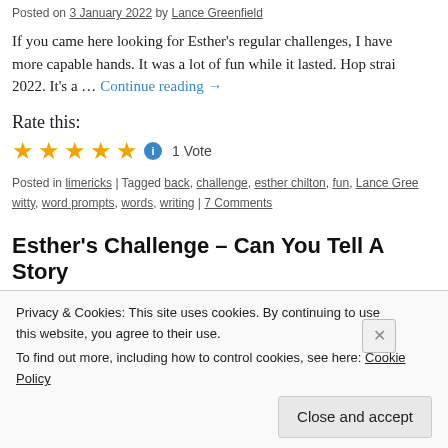Posted on 3 January 2022 by Lance Greenfield
If you came here looking for Esther's regular challenges, I have more capable hands. It was a lot of fun while it lasted. Hop strai 2022. It's a … Continue reading →
Rate this:
[Figure (other): 5 gold stars rating with info icon and '1 Vote' label]
Posted in limericks | Tagged back, challenge, esther chilton, fun, Lance Gree witty, word prompts, words, writing | 7 Comments
Esther's Challenge – Can You Tell A Story
Privacy & Cookies: This site uses cookies. By continuing to use this website, you agree to their use.
To find out more, including how to control cookies, see here: Cookie Policy
Close and accept